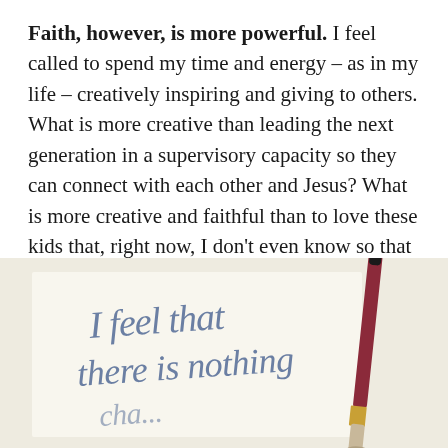Faith, however, is more powerful. I feel called to spend my time and energy – as in my life – creatively inspiring and giving to others. What is more creative than leading the next generation in a supervisory capacity so they can connect with each other and Jesus? What is more creative and faithful than to love these kids that, right now, I don't even know so that they can spend a week growing in their walk and finding the way in their faith?
[Figure (photo): A light cream/beige background showing handwritten calligraphy in blue ink reading 'I feel that there is nothing' with a paint brush (maroon/dark red handle, golden ferrule, dark bristle tip) leaning diagonally on the right side of the image.]